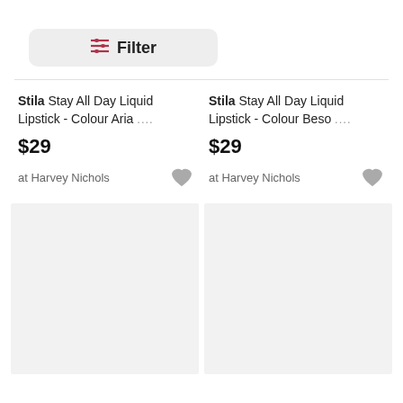[Figure (screenshot): Filter button with slider icon]
Stila Stay All Day Liquid Lipstick - Colour Aria .... $29 at Harvey Nichols
Stila Stay All Day Liquid Lipstick - Colour Beso .... $29 at Harvey Nichols
[Figure (photo): Empty product image placeholder left]
[Figure (photo): Empty product image placeholder right]